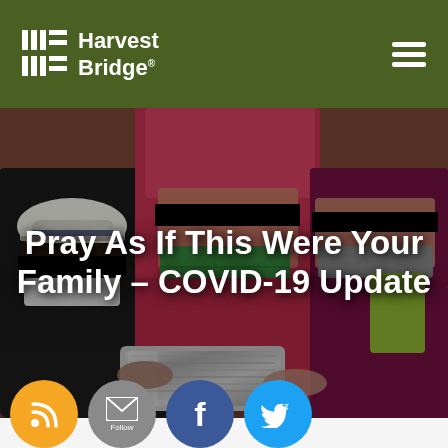Harvest Bridge
[Figure (photo): Three people wearing masks and with faces obscured by black censor bars, appearing to exchange or hold a silver package. The person on the left wears a white hat and black clothing, the center person wears a pink/red outfit with a green mask and pink headscarf, and the right person wears pink/purple clothing.]
Pray As If This Were Your Family – COVID-19 Update